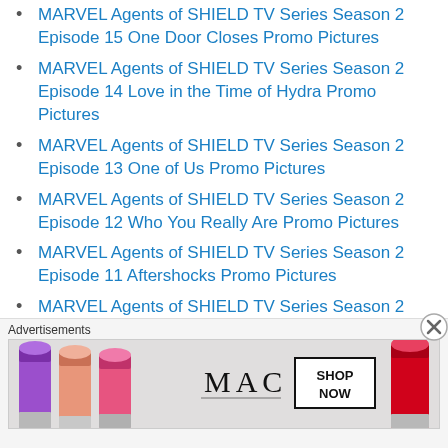MARVEL Agents of SHIELD TV Series Season 2 Episode 15 One Door Closes Promo Pictures
MARVEL Agents of SHIELD TV Series Season 2 Episode 14 Love in the Time of Hydra Promo Pictures
MARVEL Agents of SHIELD TV Series Season 2 Episode 13 One of Us Promo Pictures
MARVEL Agents of SHIELD TV Series Season 2 Episode 12 Who You Really Are Promo Pictures
MARVEL Agents of SHIELD TV Series Season 2 Episode 11 Aftershocks Promo Pictures
MARVEL Agents of SHIELD TV Series Season 2 Episode 10 What They Become Promo Pictures
MARVEL Agents of SHIELD TV Series Season 2 Episode 09 Ye Who Enter Here Promo Pictures
MARVEL Agents of SHIELD TV Series Season 2 Episode 08 The Things We Bury Promo Pictures
MARVEL Agents of SHIELD TV Series Season 2 Episode 07 The
Advertisements
[Figure (photo): MAC cosmetics advertisement showing lipsticks in purple, peach, and pink colors with MAC logo and SHOP NOW button]